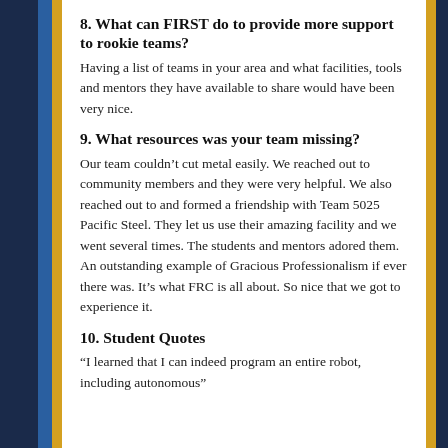8. What can FIRST do to provide more support to rookie teams?
Having a list of teams in your area and what facilities, tools and mentors they have available to share would have been very nice.
9. What resources was your team missing?
Our team couldn’t cut metal easily. We reached out to community members and they were very helpful. We also reached out to and formed a friendship with Team 5025 Pacific Steel. They let us use their amazing facility and we went several times. The students and mentors adored them. An outstanding example of Gracious Professionalism if ever there was. It’s what FRC is all about. So nice that we got to experience it.
10. Student Quotes
“I learned that I can indeed program an entire robot, including autonomous”